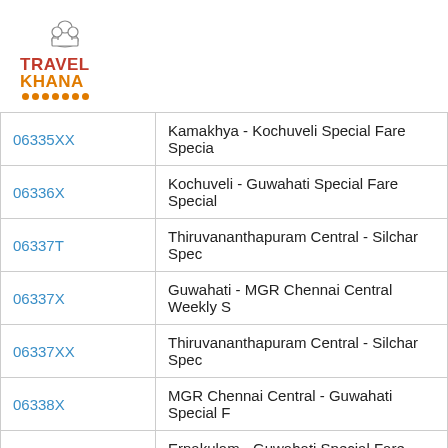[Figure (logo): Travel Khana logo with chef hat icon and orange dotted underline]
| Code | Train Name |
| --- | --- |
| 06335XX | Kamakhya - Kochuveli Special Fare Specia |
| 06336X | Kochuveli - Guwahati Special Fare Special |
| 06337T | Thiruvananthapuram Central - Silchar Spec |
| 06337X | Guwahati - MGR Chennai Central Weekly S |
| 06337XX | Thiruvananthapuram Central - Silchar Spec |
| 06338X | MGR Chennai Central - Guwahati Special F |
| 06340x | Ernakulam - Guwahati Special Fare Specia |
| 06342X | Mangaluru Central - Guwahati One Way Sp |
| 06577 | Yesvantpur - Guwahati Summer Special |
| 06578 | Guwahati - Yesvantpur Summer Special |